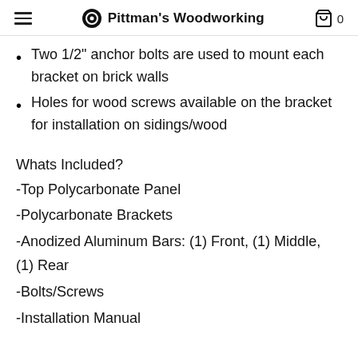Pittman's Woodworking
Two 1/2" anchor bolts are used to mount each bracket on brick walls
Holes for wood screws available on the bracket for installation on sidings/wood
Whats Included?
-Top Polycarbonate Panel
-Polycarbonate Brackets
-Anodized Aluminum Bars: (1) Front, (1) Middle, (1) Rear
-Bolts/Screws
-Installation Manual